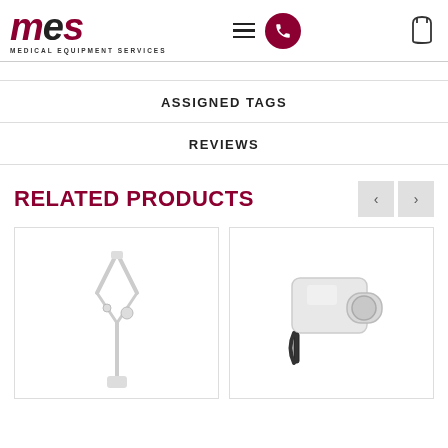[Figure (logo): MES Medical Equipment Services logo with red and black stylized text and subtitle]
ASSIGNED TAGS
REVIEWS
RELATED PRODUCTS
[Figure (photo): Medical X-ray arm/stand equipment on white background]
[Figure (photo): Portable handheld X-ray device on white background]